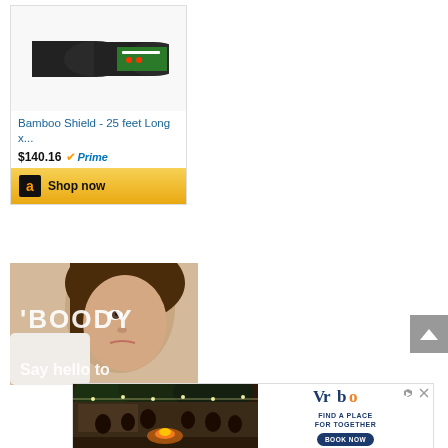[Figure (screenshot): Amazon product card for Bamboo Shield - 25 feet Long x... showing product image of black and green rolls, price $140.16 with Prime badge, and Shop now button with Amazon logo]
[Figure (photo): Boody advertisement showing a woman with brown hair and the text 'BOODY' and 'Say hello to' partially visible]
[Figure (screenshot): Vrbo advertisement showing people gathered around a fire pit outdoors at night, with Vrbo logo and text 'FIND A PLACE FOR TOGETHER' and 'BOOK NOW' button]